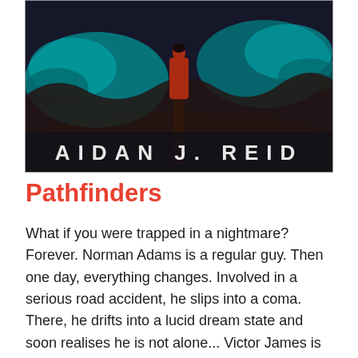[Figure (illustration): Book cover for 'Pathfinders' by Aidan J. Reid showing a figure standing in a surreal teal/dark landscape with the author name 'AIDAN J. REID' in large white letters at the bottom]
Pathfinders
What if you were trapped in a nightmare? Forever. Norman Adams is a regular guy. Then one day, everything changes. Involved in a serious road accident, he slips into a coma. There, he drifts into a lucid dream state and soon realises he is not alone... Victor James is his loyal friend. Determined to help, he works with a